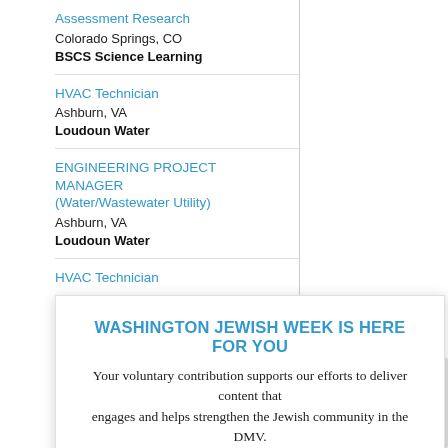Assessment Research
Colorado Springs, CO
BSCS Science Learning
HVAC Technician
Ashburn, VA
Loudoun Water
ENGINEERING PROJECT MANAGER
(Water/Wastewater Utility)
Ashburn, VA
Loudoun Water
HVAC Technician
Ashburn, VA
Loudoun Water
WASHINGTON JEWISH WEEK IS HERE FOR YOU
Your voluntary contribution supports our efforts to deliver content that engages and helps strengthen the Jewish community in the DMV.
CONTRIBUTE
Communications Manager (Multiple
Charlottesville, VA
Southern Environmental Law Center (SELC)